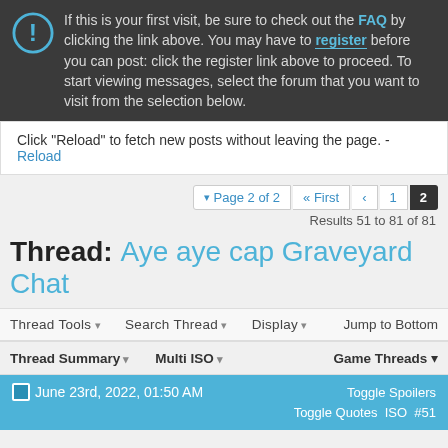If this is your first visit, be sure to check out the FAQ by clicking the link above. You may have to register before you can post: click the register link above to proceed. To start viewing messages, select the forum that you want to visit from the selection below.
Click "Reload" to fetch new posts without leaving the page. - Reload
Page 2 of 2  « First  ‹  1  2
Results 51 to 81 of 81
Thread: Aye aye cap Graveyard Chat
Thread Tools ▾  Search Thread ▾  Display ▾  Jump to Bottom
Thread Summary ▾  Multi ISO ▾  Game Threads ▾
June 23rd, 2022, 01:50 AM   Toggle Spoilers  Toggle Quotes  ISO  #51